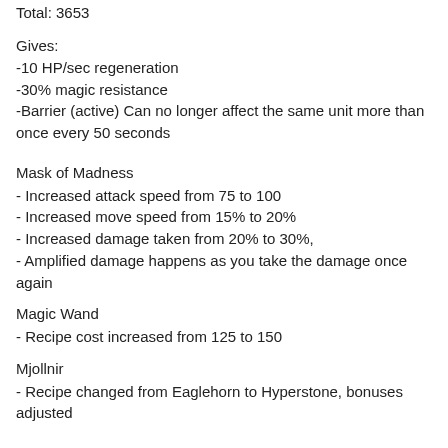Total: 3653
Gives:
-10 HP/sec regeneration
-30% magic resistance
-Barrier (active) Can no longer affect the same unit more than once every 50 seconds
Mask of Madness
- Increased attack speed from 75 to 100
- Increased move speed from 15% to 20%
- Increased damage taken from 20% to 30%,
- Amplified damage happens as you take the damage once again
Magic Wand
- Recipe cost increased from 125 to 150
Mjollnir
- Recipe changed from Eaglehorn to Hyperstone, bonuses adjusted